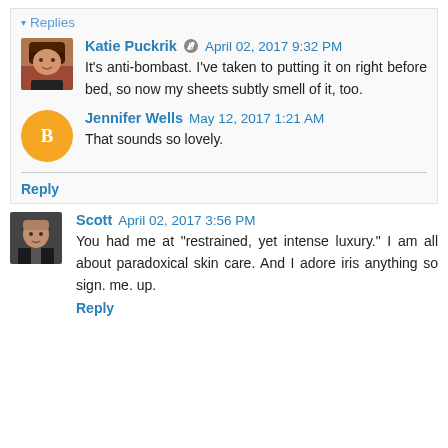▾ Replies
Katie Puckrik ✏ April 02, 2017 9:32 PM
It's anti-bombast. I've taken to putting it on right before bed, so now my sheets subtly smell of it, too.
Jennifer Wells May 12, 2017 1:21 AM
That sounds so lovely.
Reply
Scott April 02, 2017 3:56 PM
You had me at "restrained, yet intense luxury." I am all about paradoxical skin care. And I adore iris anything so sign. me. up.
Reply